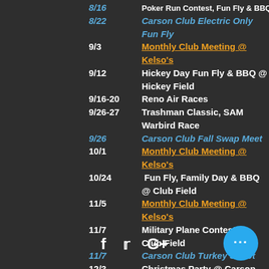8/16  Poker Run Contest, Fun Fly & BBQ @ Field
8/22  Carson Club Electric Only Fun Fly
9/3   Monthly Club Meeting @ Kelso's
9/12  Hickey Day Fun Fly & BBQ @ Hickey Field
9/16-20  Reno Air Races
9/26-27  Trashman Classic, SAM Warbird Race
9/26  Carson Club Fall Swap Meet
10/1  Monthly Club Meeting @ Kelso's
10/24  Fun Fly, Family Day & BBQ @ Club Field
11/5  Monthly Club Meeting @ Kelso's
11/7  Military Plane Contest @ Club Field
11/7  Carson Club Turkey Shoot
12/3  Christmas Party @ Carson Valley CC
1/1/21  Carson Club Frozen Finger Fun Fly
f  t  G+